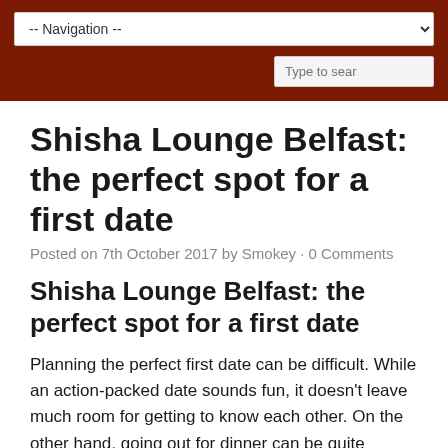-- Navigation --
Shisha Lounge Belfast: the perfect spot for a first date
Posted on 7th October 2017 by Smokey • 0 Comments
Shisha Lounge Belfast: the perfect spot for a first date
Planning the perfect first date can be difficult. While an action-packed date sounds fun, it doesn't leave much room for getting to know each other. On the other hand, going out for dinner can be quite intense, and if your date goes badly, it can end up being